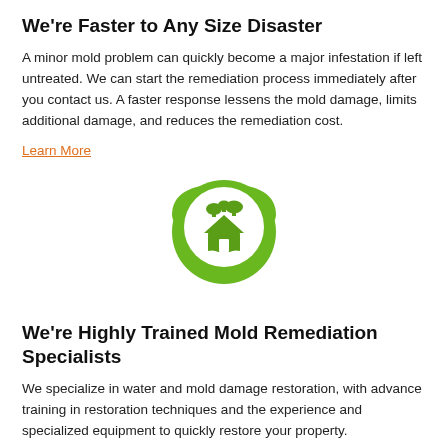We're Faster to Any Size Disaster
A minor mold problem can quickly become a major infestation if left untreated. We can start the remediation process immediately after you contact us. A faster response lessens the mold damage, limits additional damage, and reduces the remediation cost.
Learn More
[Figure (illustration): Green map pin / location marker icon with a white mold/water damage house silhouette inside a circular area on the pin]
We're Highly Trained Mold Remediation Specialists
We specialize in water and mold damage restoration, with advance training in restoration techniques and the experience and specialized equipment to quickly restore your property.